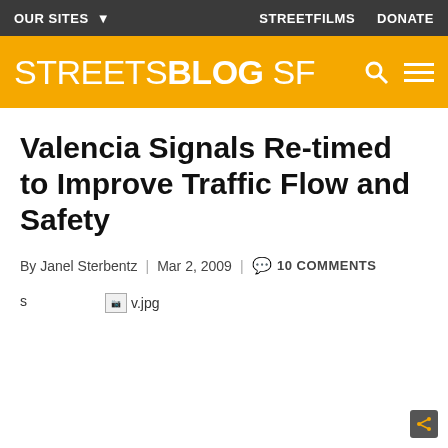OUR SITES ▼   STREETFILMS   DONATE
STREETSBLOG SF
Valencia Signals Re-timed to Improve Traffic Flow and Safety
By Janel Sterbentz | Mar 2, 2009 | 💬 10 COMMENTS
[Figure (photo): Broken image placeholder showing 's' text and 'v.jpg' filename]